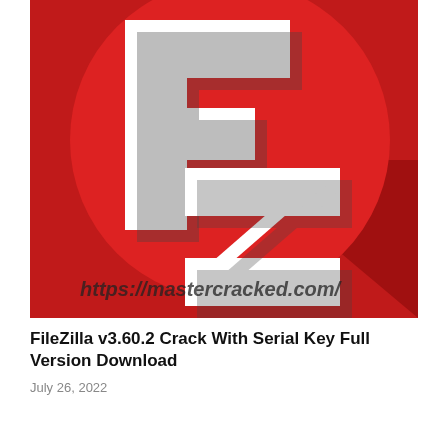[Figure (logo): FileZilla FZ logo on a red background with white stylized F and Z letters, with watermark text 'https://mastercracked.com/' at the bottom of the image]
FileZilla v3.60.2 Crack With Serial Key Full Version Download
July 26, 2022